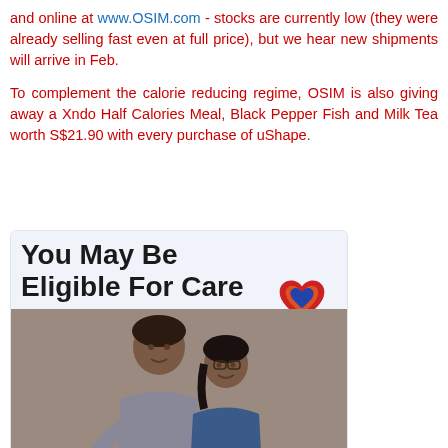and online at www.OSIM.com - stocks are currently low (they were already selling fast even at full price), but we hear new shipments will arrive in Feb.
To complement the calorie reducing regime, OSIM is also giving away a Xndo Half Calories Meal, Black Pepper Fish and Milk Tea worth S$21.90 with every purchase of uShape.
[Figure (infographic): Advertisement banner with text 'You May Be Eligible For Care' and a heart logo, showing two women hugging and smiling, with a dark footer 'Learn More >']